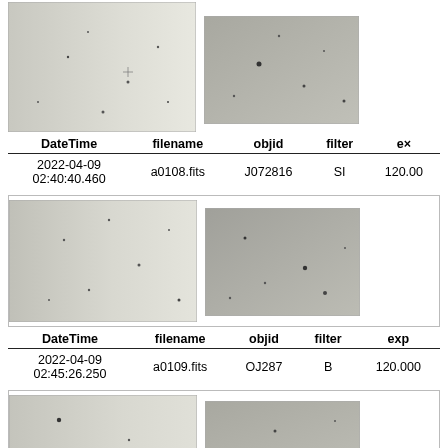[Figure (photo): Two astronomical field images side by side (top pair, partially visible)]
| DateTime | filename | objid | filter | ex |
| --- | --- | --- | --- | --- |
| 2022-04-09
02:40:40.460 | a0108.fits | J072816 | SI | 120.00 |
[Figure (photo): Two astronomical field images side by side (middle pair)]
| DateTime | filename | objid | filter | exp |
| --- | --- | --- | --- | --- |
| 2022-04-09
02:45:26.250 | a0109.fits | OJ287 | B | 120.000 |
[Figure (photo): Two astronomical field images side by side (bottom pair, partially visible)]